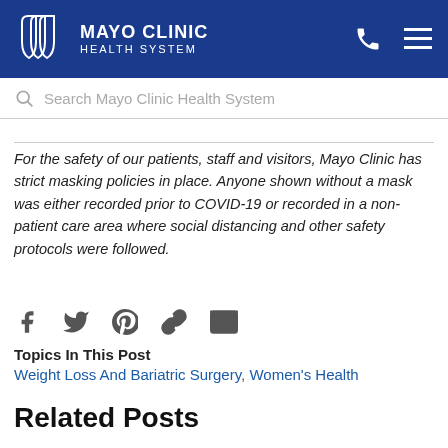MAYO CLINIC HEALTH SYSTEM
Search Mayo Clinic Health System
For the safety of our patients, staff and visitors, Mayo Clinic has strict masking policies in place. Anyone shown without a mask was either recorded prior to COVID-19 or recorded in a non-patient care area where social distancing and other safety protocols were followed.
[Figure (infographic): Social share icons: Facebook, Twitter, Pinterest, Link, Email]
Topics In This Post
Weight Loss And Bariatric Surgery,  Women's Health
Related Posts